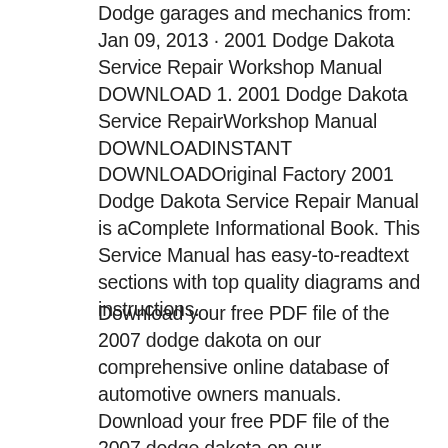Dodge garages and mechanics from: Jan 09, 2013 · 2001 Dodge Dakota Service Repair Workshop Manual DOWNLOAD 1. 2001 Dodge Dakota Service RepairWorkshop Manual DOWNLOADINSTANT DOWNLOADOriginal Factory 2001 Dodge Dakota Service Repair Manual is aComplete Informational Book. This Service Manual has easy-to-readtext sections with top quality diagrams and instructions.
Download your free PDF file of the 2007 dodge dakota on our comprehensive online database of automotive owners manuals. Download your free PDF file of the 2007 dodge dakota on our...